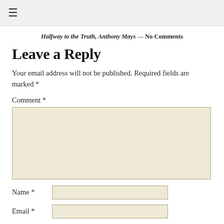≡
Halfway to the Truth, Anthony Mays — No Comments
Leave a Reply
Your email address will not be published. Required fields are marked *
Comment *
Name *
Email *